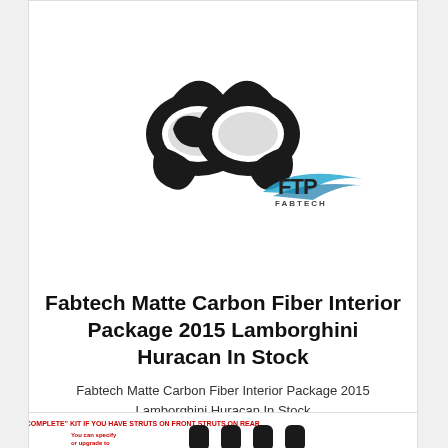[Figure (photo): Black carbon fiber mirror parts / interior pieces for Lamborghini Huracan with FTP Fabtech logo in bottom right]
Fabtech Matte Carbon Fiber Interior Package 2015 Lamborghini Huracan In Stock
Fabtech Matte Carbon Fiber Interior Package 2015 Lamborghini Huracan In Stock
$1349.99
[Figure (photo): Product listing for a complete kit with struts, showing air bag fittings and components]